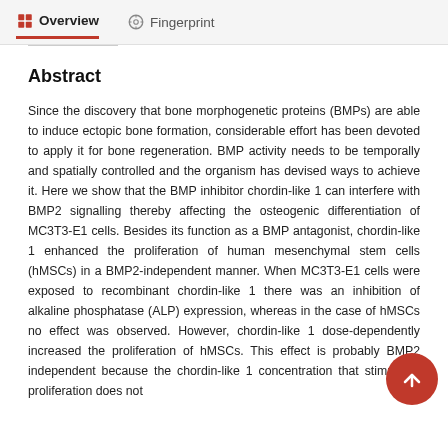Overview   Fingerprint
Abstract
Since the discovery that bone morphogenetic proteins (BMPs) are able to induce ectopic bone formation, considerable effort has been devoted to apply it for bone regeneration. BMP activity needs to be temporally and spatially controlled and the organism has devised ways to achieve it. Here we show that the BMP inhibitor chordin-like 1 can interfere with BMP2 signalling thereby affecting the osteogenic differentiation of MC3T3-E1 cells. Besides its function as a BMP antagonist, chordin-like 1 enhanced the proliferation of human mesenchymal stem cells (hMSCs) in a BMP2-independent manner. When MC3T3-E1 cells were exposed to recombinant chordin-like 1 there was an inhibition of alkaline phosphatase (ALP) expression, whereas in the case of hMSCs no effect was observed. However, chordin-like 1 dose-dependently increased the proliferation of hMSCs. This effect is probably BMP2 independent because the chordin-like 1 concentration that stimulates proliferation does not